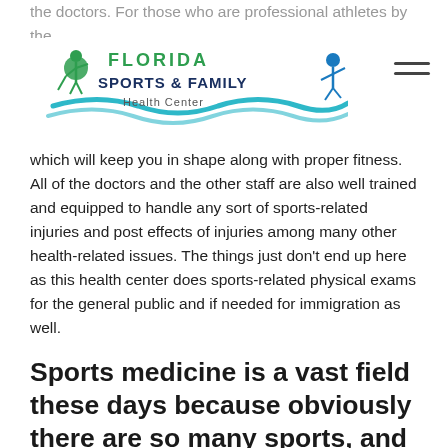Florida Sports & Family Health Center
which will keep you in shape along with proper fitness. All of the doctors and the other staff are also well trained and equipped to handle any sort of sports-related injuries and post effects of injuries among many other health-related issues. The things just don't end up here as this health center does sports-related physical exams for the general public and if needed for immigration as well.
Sports medicine is a vast field these days because obviously there are so many sports, and each requires medical and physical preparation.
Our facility takes pride in serving all athletes that may belong to different sports. Our main focus is sports medicine and we proudly assist every athlete whoever comes in our